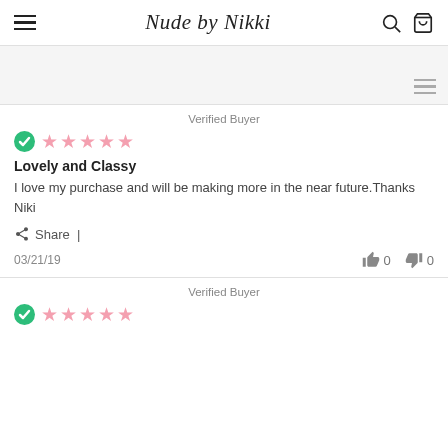Nude by Nikki
Verified Buyer
Lovely and Classy
I love my purchase and will be making more in the near future.Thanks Niki
Share |
03/21/19
Verified Buyer